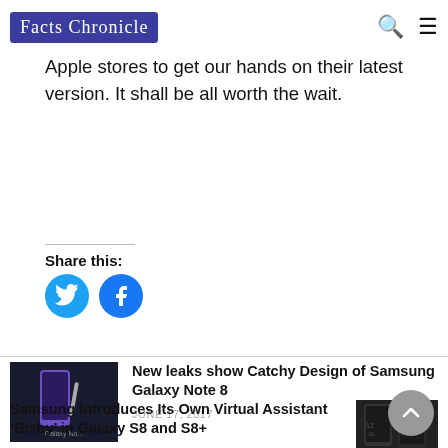Fact Chronicle
Apple stores to get our hands on their latest version. It shall be all worth the wait.
Share this:
[Figure (illustration): Twitter share button - blue circle with white Twitter bird icon]
[Figure (illustration): Facebook share button - blue circle with white Facebook 'f' icon]
[Figure (photo): Samsung Galaxy Note 8 product image on dark background]
New leaks show Catchy Design of Samsung Galaxy Note 8
JUNE 17, 2017
Samsung Introduces Its Own Virtual Assistant ‘Bixby’ in Galaxy S8 and S8+
[Figure (photo): Samsung Galaxy S8 and S8+ product image]